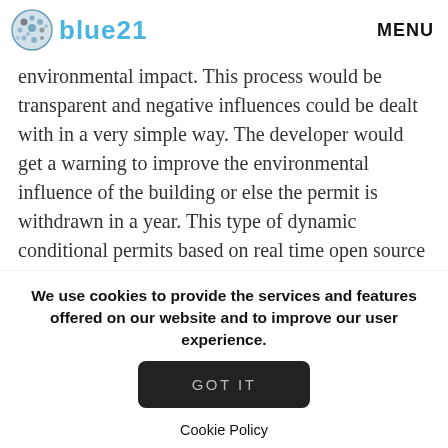blue21 MENU
permit to construct a floating building as long as the developer or building owner has a positive environmental impact. This process would be transparent and negative influences could be dealt with in a very simple way. The developer would get a warning to improve the environmental influence of the building or else the permit is withdrawn in a year. This type of dynamic conditional permits based on real time open source environmental monitoring
We use cookies to provide the services and features offered on our website and to improve our user experience.
GOT IT
Cookie Policy